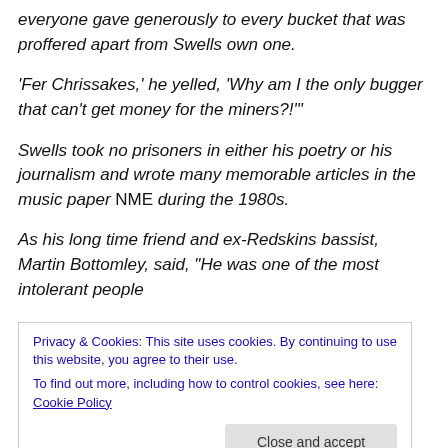everyone gave generously to every bucket that was proffered apart from Swells own one.
'Fer Chrissakes,' he yelled, 'Why am I the only bugger that can't get money for the miners?!''
Swells took no prisoners in either his poetry or his journalism and wrote many memorable articles in the music paper NME during the 1980s.
As his long time friend and ex-Redskins bassist, Martin Bottomley, said, "He was one of the most intolerant people
Privacy & Cookies: This site uses cookies. By continuing to use this website, you agree to their use.
To find out more, including how to control cookies, see here: Cookie Policy
the Guardian